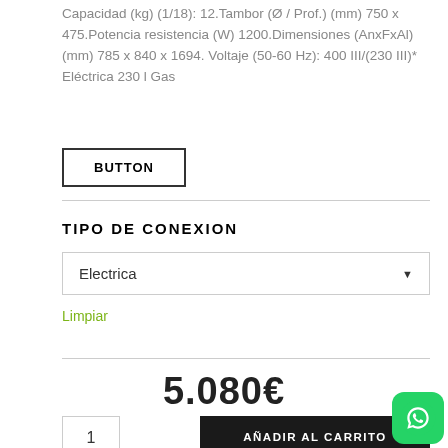Capacidad (kg) (1/18): 12.Tambor (Ø / Prof.) (mm) 750 x 475.Potencia resistencia (W) 1200.Dimensiones (AnxFxAl) (mm) 785 x 840 x 1694. Voltaje (50-60 Hz): 400 III/(230 III)* Eléctrica 230 l Gas
BUTTON
TIPO DE CONEXION
Electrica
Limpiar
5.080€
1
AÑADIR AL CARRITO